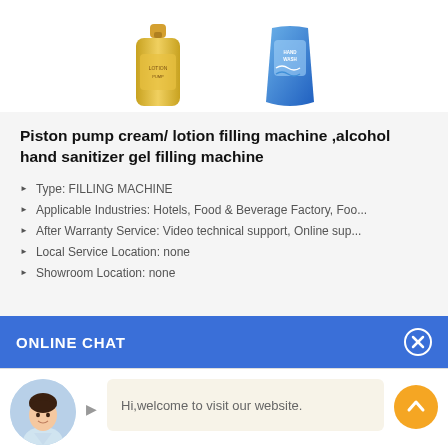[Figure (photo): Two product images at top: a gold pump bottle on the left and a blue liquid soap pouch on the right]
Piston pump cream/ lotion filling machine ,alcohol hand sanitizer gel filling machine
Type: FILLING MACHINE
Applicable Industries: Hotels, Food & Beverage Factory, Foo...
After Warranty Service: Video technical support, Online sup...
Local Service Location: none
Showroom Location: none
ONLINE CHAT
[Figure (photo): Avatar of a woman named Cilina with a welcome chat bubble saying 'Hi,welcome to visit our website.' and an orange scroll-to-top button]